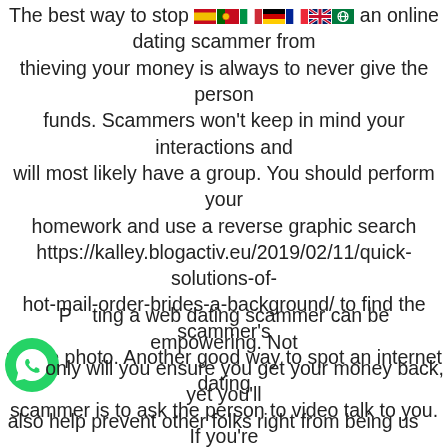[Figure (other): Row of country flag emoji icons (Spain, Portugal, Italy, Germany, France, UK, and an Arabic/globe flag)]
The best way to stop an online dating scammer from thieving your money is always to never give the person funds. Scammers won't keep in mind your interactions and will most likely have a group. You should perform your homework and use a reverse graphic search https://kalley.blogactiv.eu/2019/02/11/quick-solutions-of-hot-mail-order-brides-a-background/ to find the scammer's profile photo. Another good way to spot an internet dating scammer is to ask the person to video talk to you. If you're not sure about the person's online occurrence, ask a friend to verify it to hand. If he or she will tell you the information of the scammer, you can call him or her and get his or her help.
[Figure (logo): WhatsApp green circle icon with phone handset symbol]
Posting a web dating scammer can be empowering. Not only will you ensure you get your money back, yet you'll also help prevent other folks right from being used.